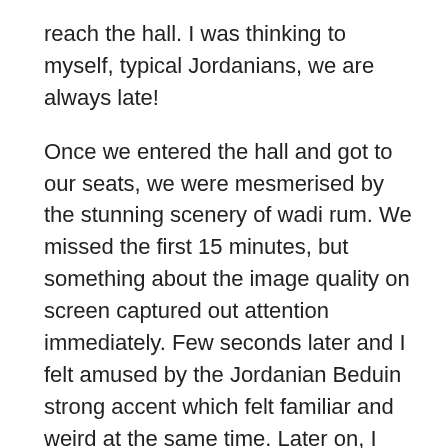reach the hall. I was thinking to myself, typical Jordanians, we are always late!
Once we entered the hall and got to our seats, we were mesmerised by the stunning scenery of wadi rum. We missed the first 15 minutes, but something about the image quality on screen captured out attention immediately. Few seconds later and I felt amused by the Jordanian Beduin strong accent which felt familiar and weird at the same time. Later on, I felt myself getting attached to little Theeb and following his adventure in the wilderness of Jordan's beautiful desert.
To be honest with you, the film felt slow, but that was totally fine because of the scenery that fills the gaps when there is no action.  I do understand that the story was initially written as a short film and